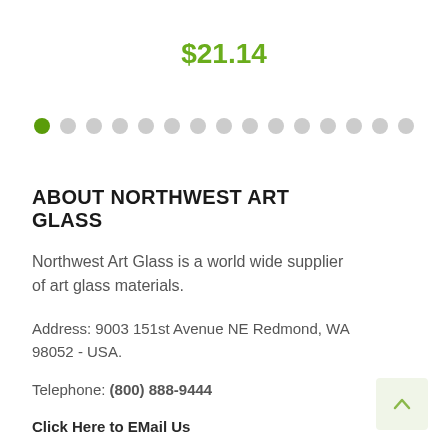$21.14
[Figure (other): Carousel navigation dots — one green filled dot followed by 14 grey filled dots]
ABOUT NORTHWEST ART GLASS
Northwest Art Glass is a world wide supplier of art glass materials.
Address: 9003 151st Avenue NE Redmond, WA 98052 - USA.
Telephone: (800) 888-9444
Click Here to EMail Us